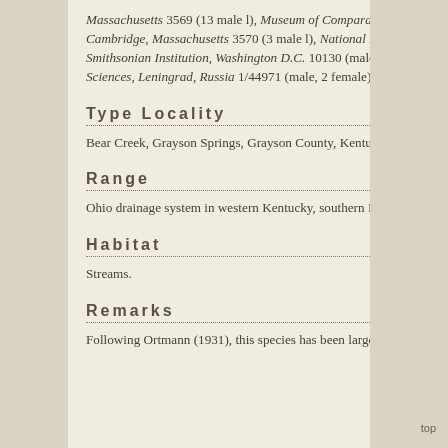Massachusetts 3569 (13 male l), Museum of Comparative Zoology, Harvard University, Cambridge, Massachusetts 3570 (3 male l), National Museum of Natural History, Smithsonian Institution, Washington D.C. 10130 (male l), Zoological Institute, Academy of Sciences, Leningrad, Russia 1/44971 (male, 2 female).
Type Locality
Bear Creek, Grayson Springs, Grayson County, Kentucky.
Range
Ohio drainage system in western Kentucky, southern Indiana(?), and Tennessee(?).
Habitat
Streams.
Remarks
Following Ortmann (1931), this species has been largely